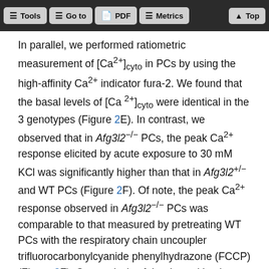Tools  Go to  PDF  Metrics  Top
In parallel, we performed ratiometric measurement of [Ca²⁺]cyto in PCs by using the high-affinity Ca²⁺ indicator fura-2. We found that the basal levels of [Ca ²⁺]cyto were identical in the 3 genotypes (Figure 2E). In contrast, we observed that in Afg3l2⁻/⁻ PCs, the peak Ca²⁺ response elicited by acute exposure to 30 mM KCl was significantly higher than that in Afg3l2⁺/⁻ and WT PCs (Figure 2F). Of note, the peak Ca²⁺ response observed in Afg3l2⁻/⁻ PCs was comparable to that measured by pretreating WT PCs with the respiratory chain uncoupler trifluorocarbonylcyanide phenylhydrazone (FCCP) (Figure 2F). Our analysis of the decay kinetics revealed no significant differences among the genotypes, demonstrating that active Ca²⁺ clearance systems of mutant PCs (e.g., plasma membrane